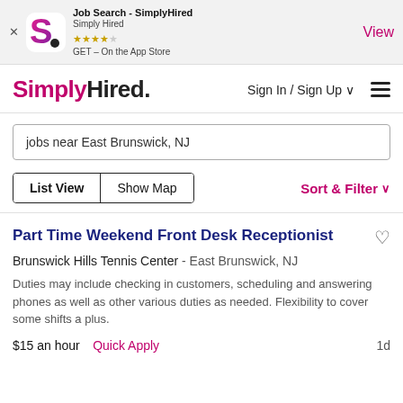[Figure (screenshot): SimplyHired app banner with logo, star rating, and View button for App Store]
SimplyHired – Sign In / Sign Up
jobs near East Brunswick, NJ
List View   Show Map   Sort & Filter
Part Time Weekend Front Desk Receptionist
Brunswick Hills Tennis Center -  East Brunswick, NJ
Duties may include checking in customers, scheduling and answering phones as well as other various duties as needed. Flexibility to cover some shifts a plus.
$15 an hour   Quick Apply   1d